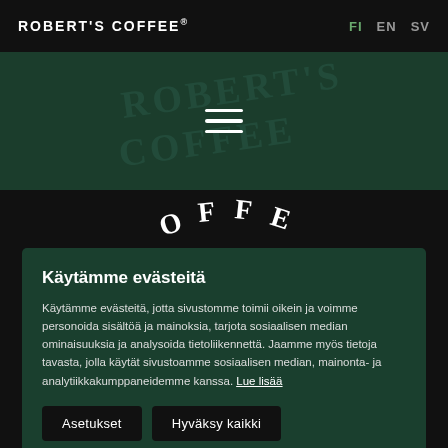ROBERT'S COFFEE®
[Figure (screenshot): Dark green header band with hamburger menu icon and faint Robert's Coffee watermark text in the background]
[Figure (illustration): Arc of letters spelling O F F E in serif font, resembling a circular logo treatment on dark background]
Käytämme evästeitä
Käytämme evästeitä, jotta sivustomme toimii oikein ja voimme personoida sisältöä ja mainoksia, tarjota sosiaalisen median ominaisuuksia ja analysoida tietoliikennettä. Jaamme myös tietoja tavasta, jolla käytät sivustoamme sosiaalisen median, mainonta- ja analytiikkakumppaneidemme kanssa. Lue lisää
Asetukset   Hyväksy kaikki
Lataa Loyalty Card